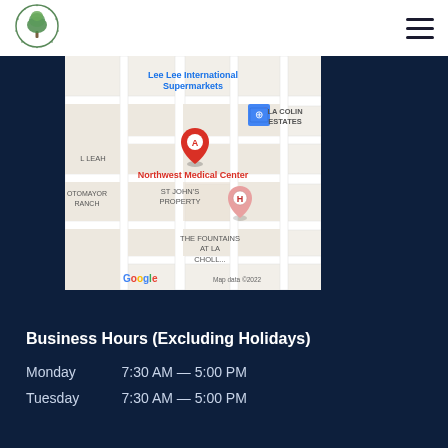[Figure (logo): Circular tree/nature logo for medical center]
[Figure (map): Google Maps screenshot showing Northwest Medical Center location marked with red pin A, near Lee Lee International Supermarkets, LA Colina Estates, ST John's Property, The Fountains at La Cholla area. Map data ©2022.]
Business Hours (Excluding Holidays)
Monday    7:30 AM — 5:00 PM
Tuesday    7:30 AM — 5:00 PM